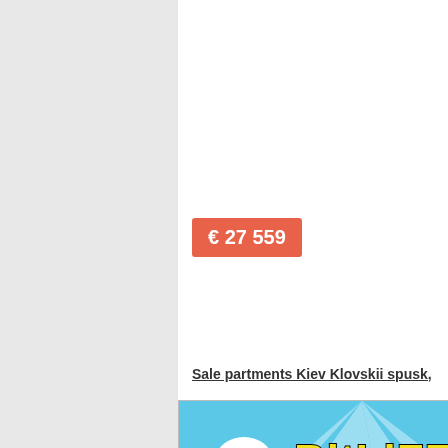€ 27 559
Sale partments Kiev Klovskii spusk,
[Figure (screenshot): BitLife advertisement banner showing sperm cell mascot, 'BitLife' logo in yellow text, text 'WHEN REAL LIFE IS QUARANTINED', emoji with star eyes and medical mask, thumbs up hand, unicorn. Has close (X) and help (?) buttons in top right corner.]
0
35.00 m2
/
Sale partments Kiev CHokolovskii